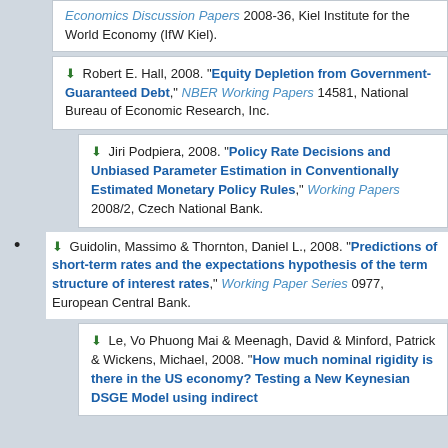Economics Discussion Papers 2008-36, Kiel Institute for the World Economy (IfW Kiel).
Robert E. Hall, 2008. "Equity Depletion from Government-Guaranteed Debt," NBER Working Papers 14581, National Bureau of Economic Research, Inc.
Jiri Podpiera, 2008. "Policy Rate Decisions and Unbiased Parameter Estimation in Conventionally Estimated Monetary Policy Rules," Working Papers 2008/2, Czech National Bank.
Guidolin, Massimo & Thornton, Daniel L., 2008. "Predictions of short-term rates and the expectations hypothesis of the term structure of interest rates," Working Paper Series 0977, European Central Bank.
Le, Vo Phuong Mai & Meenagh, David & Minford, Patrick & Wickens, Michael, 2008. "How much nominal rigidity is there in the US economy? Testing a New Keynesian DSGE Model using indirect...